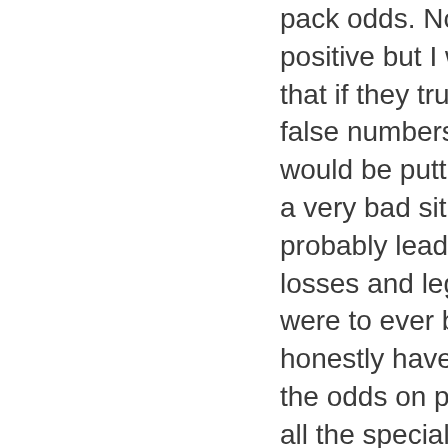pack odds. Now I'm not positive but I would assume that if they truly were giving false numbers on odds they would be putting themselves in a very bad situation that would probably lead to huge financial losses and legal issues if it were to ever be proven true. I honestly haven't really checked the odds on packs. I know on all the special packs it typically gives odds for the rare and base cards but again I pay it no attention. I imagine over the entire lifecycle of the game it works out and ends up being the number listed. What happens in between is completely random and nothing more than luck or bad luck depending on how your